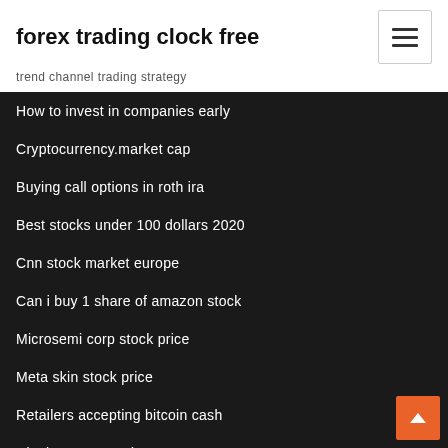forex trading clock free
trend channel trading strategy
How to invest in companies early
Cryptocurrency.market cap
Buying call options in roth ira
Best stocks under 100 dollars 2020
Cnn stock market europe
Can i buy 1 share of amazon stock
Microsemi corp stock price
Meta skin stock price
Retailers accepting bitcoin cash
Ripple xrp xrp usd